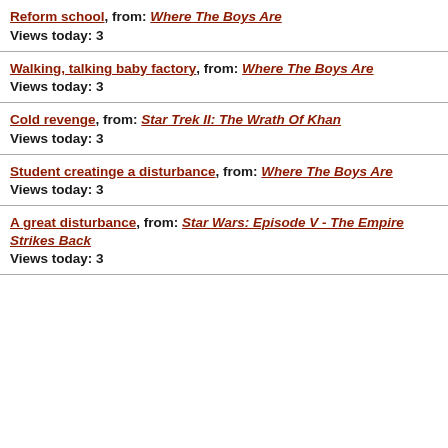Reform school, from: Where The Boys Are
Views today: 3
Walking, talking baby factory, from: Where The Boys Are
Views today: 3
Cold revenge, from: Star Trek II: The Wrath Of Khan
Views today: 3
Student creatinge a disturbance, from: Where The Boys Are
Views today: 3
A great disturbance, from: Star Wars: Episode V - The Empire Strikes Back
Views today: 3